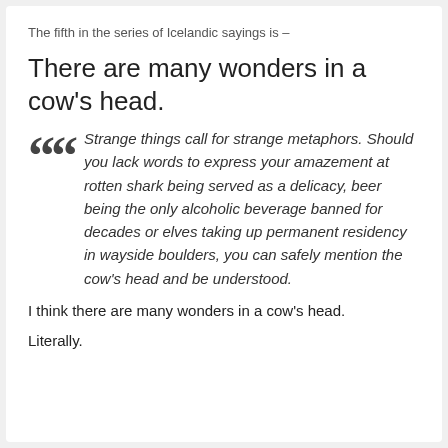The fifth in the series of Icelandic sayings is –
There are many wonders in a cow's head.
Strange things call for strange metaphors. Should you lack words to express your amazement at rotten shark being served as a delicacy, beer being the only alcoholic beverage banned for decades or elves taking up permanent residency in wayside boulders, you can safely mention the cow's head and be understood.
I think there are many wonders in a cow's head.
Literally.